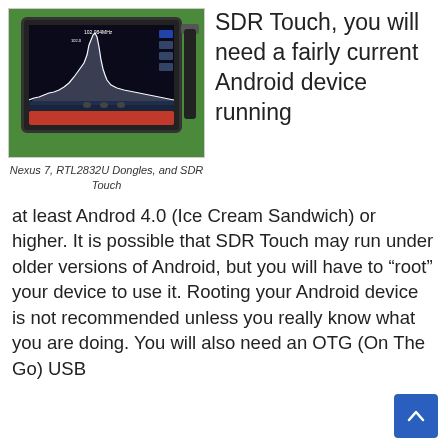[Figure (photo): Photo of a Nexus 7 tablet displaying SDR Touch spectrum analyzer software, with RTL2832U dongles and an antenna on a green background]
Nexus 7, RTL2832U Dongles, and SDR Touch
SDR Touch, you will need a fairly current Android device running at least Androd 4.0 (Ice Cream Sandwich) or higher. It is possible that SDR Touch may run under older versions of Android, but you will have to “root” your device to use it. Rooting your Android device is not recommended unless you really know what you are doing. You will also need an OTG (On The Go) USB adapter cable for your Android device to